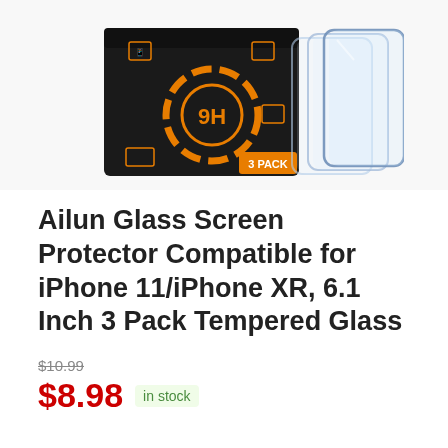[Figure (photo): Product photo of Ailun 9H tempered glass screen protector 3-pack in black box with orange accents, with three transparent glass sheets fanned out to the right]
Ailun Glass Screen Protector Compatible for iPhone 11/iPhone XR, 6.1 Inch 3 Pack Tempered Glass
$10.99
$8.98 in stock